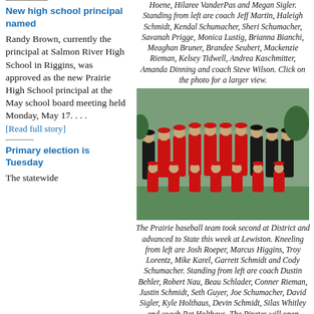Hoene, Hilaree VanderPas and Megan Sigler. Standing from left are coach Jeff Martin, Haleigh Schmidt, Kendal Schumacher, Sheri Schumacher, Savanah Prigge, Monica Lustig, Brianna Bianchi, Meaghan Bruner, Brandee Seubert, Mackenzie Rieman, Kelsey Tidwell, Andrea Kaschmitter, Amanda Dinning and coach Steve Wilson. Click on the photo for a larger view.
[Figure (photo): Prairie baseball team group photo outdoors, players in red and black uniforms with coaches]
The Prairie baseball team took second at District and advanced to State this week at Lewiston. Kneeling from left are Josh Roeper, Marcus Higgins, Troy Lorentz, Mike Karel, Garrett Schmidt and Cody Schumacher. Standing from left are coach Dustin Behler, Robert Nau, Beau Schlader, Conner Rieman, Justin Schmidt, Seth Guyer, Joe Schumacher, David Sigler, Kyle Holthaus, Devin Schmidt, Silas Whitley and coach Pat Holthaus. The Pirates will open against Rimrock at 4:00 p.m. at Airport Park baseball field. This is a change from the original time and place. Click on the photo for a
New high school principal named
Randy Brown, currently the principal at Salmon River High School in Riggins, was approved as the new Prairie High School principal at the May school board meeting held Monday, May 17. . . .
[Read full story]
Primary election is Tuesday
The statewide